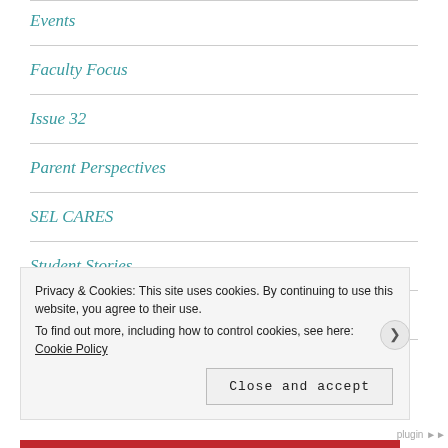Events
Faculty Focus
Issue 32
Parent Perspectives
SEL CARES
Student Stories
Uncategorized
Valedictorians
Privacy & Cookies: This site uses cookies. By continuing to use this website, you agree to their use. To find out more, including how to control cookies, see here: Cookie Policy
Close and accept